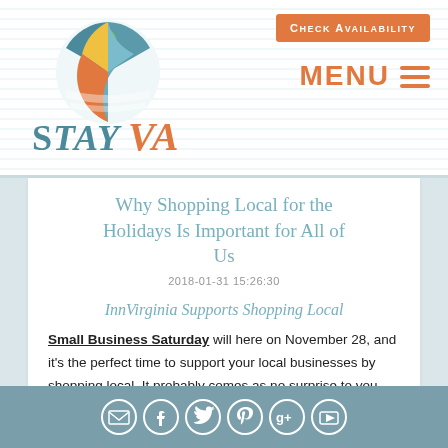CHECK AVAILABILITY | MENU
[Figure (logo): StayVA logo with decorative circular emblem in green, teal, yellow, and orange above the text 'StayVA' in teal and orange]
Why Shopping Local for the Holidays Is Important for All of Us
2018-01-31 15:26:30
InnVirginia Supports Shopping Local
Small Business Saturday will here on November 28, and it's the perfect time to support your local businesses by shopping local. It probably comes as no surprise to you
Social media icons: email, facebook, twitter, pinterest, google+, youtube